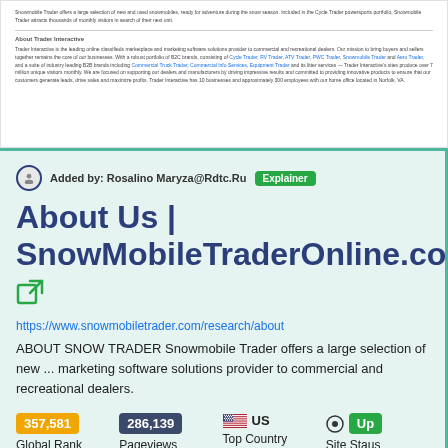Snowmobile Trader offers a large selection of new and used snowmobiles, ready for adventure during the snow season. Included in the Cycle Trader powersports portfolio, Snowmobile Trader attracts thousands of monthly visitors in search of their next unit.
About Trader Interactive
Trader Interactive is the leading online classifieds marketplace and marketing software solutions provider to commercial and recreational dealers. Our mission to bring buyers and sellers together remains the core of our businesses. With a robust portfolio of B2C brands, consisting of Cycle Trader, RV Trader, ATV Trader, PWC Trader, Snowmobile Trader and Aero Trader, and a suite of industry leading B2B brands including Commercial Truck Trader, Commercial Info Services, Equipment Trader and its litter services — Trader Interactive's sites produce over 7 million unique visitors monthly. We are focused on supporting our dealers and manufacturers by driving impressive results and committed to providing innovative products to ensure that our customers generate leads, drive sales and maximize profits. Trader Interactive has 10 businesses and approximately 300 employees with our home office located in Norfolk, VA.
Added by: Rosalino Maryza@Rdtc.Ru
About Us | SnowMobileTraderOnline.com
https://www.snowmobiletrader.com/research/about
ABOUT SNOW TRADER Snowmobile Trader offers a large selection of new ... marketing software solutions provider to commercial and recreational dealers.
| Global Rank | Pageviews | Top Country | Site Staus |
| --- | --- | --- | --- |
| 357,581 | 286,139 | US | Up |